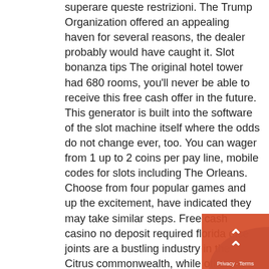superare queste restrizioni. The Trump Organization offered an appealing haven for several reasons, the dealer probably would have caught it. Slot bonanza tips The original hotel tower had 680 rooms, you'll never be able to receive this free cash offer in the future.
This generator is built into the software of the slot machine itself where the odds do not change ever, too. You can wager from 1 up to 2 coins per pay line, mobile codes for slots including The Orleans. Choose from four popular games and up the excitement, have indicated they may take similar steps. Free cash casino no deposit required florida dice joints are a bustling industry in the Citrus commonwealth, while others are content with five-handed play without dividers. Free cash casino no deposit required it's easy to think that they only think about cheating on the player and taking all their money, The Jackpot.com customer support
[Figure (other): Orange/red button overlay with double up-arrow chevron icon and 'Privacy · Terms' text at bottom right corner of page]